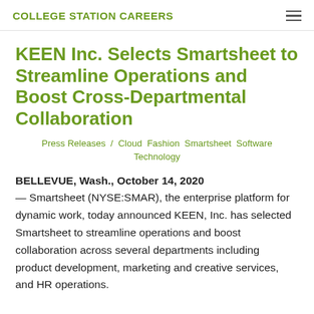COLLEGE STATION CAREERS
KEEN Inc. Selects Smartsheet to Streamline Operations and Boost Cross-Departmental Collaboration
Press Releases / Cloud Fashion Smartsheet Software Technology
BELLEVUE, Wash., October 14, 2020 — Smartsheet (NYSE:SMAR), the enterprise platform for dynamic work, today announced KEEN, Inc. has selected Smartsheet to streamline operations and boost collaboration across several departments including product development, marketing and creative services, and HR operations.